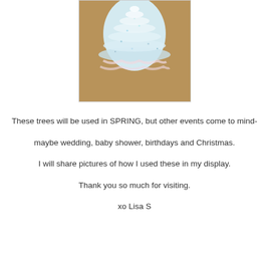[Figure (photo): A decorative white/light blue glittery tree ornament or small Christmas/display tree with ruffled sparkly layers, placed on a brown surface background.]
These trees will be used in SPRING, but other events come to mind-
maybe wedding, baby shower, birthdays and Christmas.
I will share pictures of how I used these in my display.
Thank you so much for visiting.
xo Lisa S